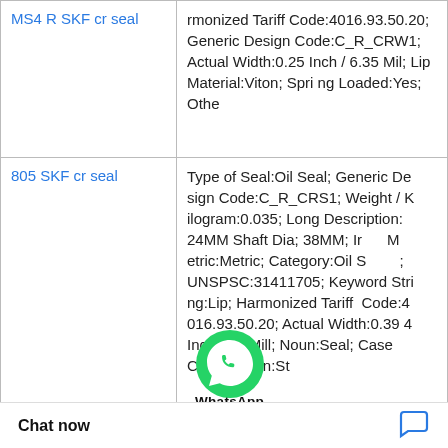| Product | Description |
| --- | --- |
| MS4 R SKF cr seal | rmonized Tariff Code:4016.93.50.20; Generic Design Code:C_R_CRW1; Actual Width:0.25 Inch / 6.35 Mil; Lip Material:Viton; Spring Loaded:Yes; Othe |
| 805 SKF cr seal | Type of Seal:Oil Seal; Generic Design Code:C_R_CRS1; Weight / Kilogram:0.035; Long Description:24MM Shaft Dia; 38MM; Ir M etric:Metric; Category:Oil S ; UNSPSC:31411705; Keyword String:Lip; Harmonized Tariff Code:4016.93.50.20; Actual Width:0.394 Inch / 10 Mill; Noun:Seal; Case Construction:St |
| X110X12 CRSH11 R SKF cr seals | Weight / Kilogram:0.189; Product Group:S02250; Category:Oil Seals; Manufacturer Name:SKF; s:Heavy Duty; Actu |